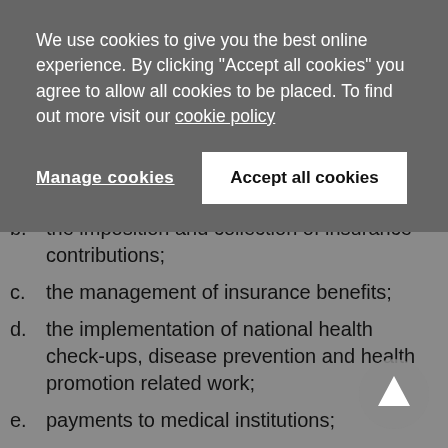We use cookies to give you the best online experience. By clicking "Accept all cookies" you agree to allow all cookies to be placed. To find out more visit our cookie policy
Manage cookies | Accept all cookies
b. the imposition and collection of insurance contributions;
c. the management of insurance benefits;
d. the implementation of national health check-ups, disease prevention and health promotion related work;
e. payments to medical institutions;
f. the determination of drug prices through negotiations with pharmaceutical companies; and
g. the execution of pricing contracts with